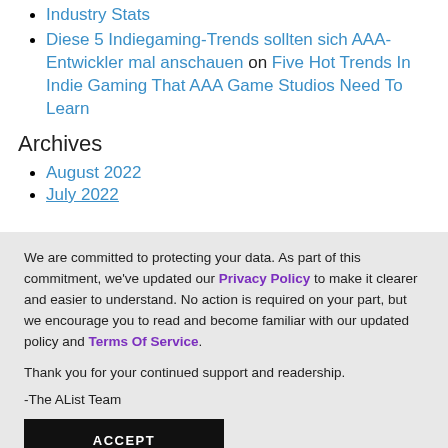Industry Stats
Diese 5 Indiegaming-Trends sollten sich AAA-Entwickler mal anschauen on Five Hot Trends In Indie Gaming That AAA Game Studios Need To Learn
Archives
August 2022
July 2022
We are committed to protecting your data. As part of this commitment, we've updated our Privacy Policy to make it clearer and easier to understand. No action is required on your part, but we encourage you to read and become familiar with our updated policy and Terms Of Service.

Thank you for your continued support and readership.

-The AList Team